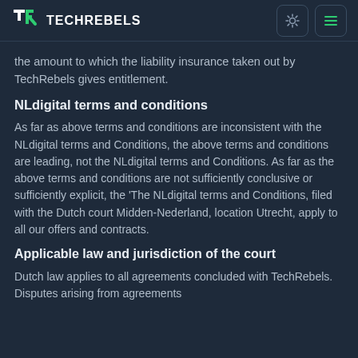TECHREBELS
the amount to which the liability insurance taken out by TechRebels gives entitlement.
NLdigital terms and conditions
As far as above terms and conditions are inconsistent with the NLdigital terms and Conditions, the above terms and conditions are leading, not the NLdigital terms and Conditions. As far as the above terms and conditions are not sufficiently conclusive or sufficiently explicit, the 'The NLdigital terms and Conditions, filed with the Dutch court Midden-Nederland, location Utrecht, apply to all our offers and contracts.
Applicable law and jurisdiction of the court
Dutch law applies to all agreements concluded with TechRebels. Disputes arising from agreements